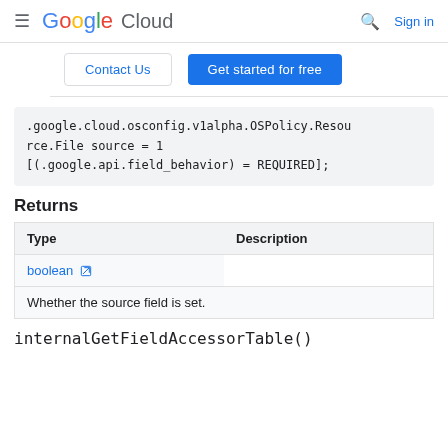Google Cloud  Sign in
Contact Us  Get started for free
.google.cloud.osconfig.v1alpha.OSPolicy.Resource.File source = 1 [(.google.api.field_behavior) = REQUIRED];
Returns
| Type | Description |
| --- | --- |
| boolean | Whether the source field is set. |
internalGetFieldAccessorTable()